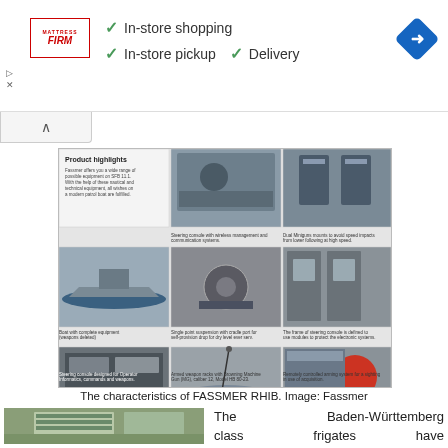[Figure (infographic): Mattress Firm advertisement banner with checkmarks for In-store shopping, In-store pickup, Delivery, and a blue diamond navigation icon]
[Figure (photo): Product highlights grid for FASSMER RHIB showing multiple images: boat, steering console, weapon stations, deck equipment, and captions describing features]
The characteristics of FASSMER RHIB. Image: Fassmer
[Figure (photo): Aerial photograph of a building complex, likely Baden-Württemberg related facility]
The Baden-Württemberg class frigates have advanced stealth characteristics and they are